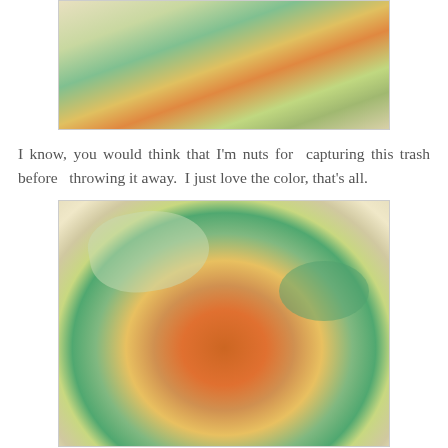[Figure (photo): Partial top view of colorful paper scraps/confetti pieces in green, yellow, orange, teal, and cream colors on a white surface, cropped at top.]
I know, you would think that I'm nuts for  capturing this trash before   throwing it away.  I just love the color, that's all.
[Figure (photo): Colorful pile of cut paper scraps in orange, green, teal, yellow, white and blue colors heaped on a white plate or surface.]
June 27, 2011:
Hello everyone.  I just got done vacuuming the whole house.  Now, I planned to  start with my window cleaning but  there is something at the back of my mind  not to lol.  It's my big L  factor.